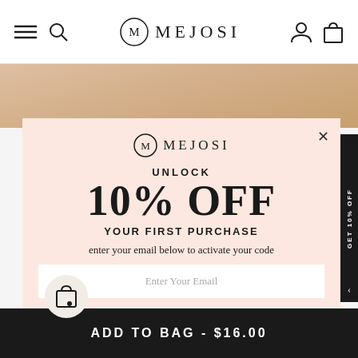MEJOSI
[Figure (screenshot): Background lifestyle image showing fashion/jewelry]
[Figure (infographic): Popup modal with MEJOSI logo, UNLOCK 10% OFF YOUR FIRST PURCHASE text, email input field, and close button]
UNLOCK
10% OFF
YOUR FIRST PURCHASE
enter your email below to activate your code
Enter Your Email
ADD TO BAG - $16.00